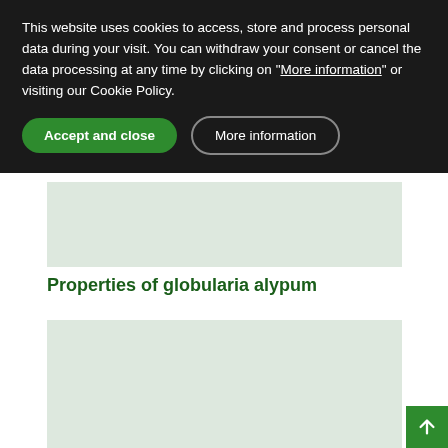This website uses cookies to access, store and process personal data during your visit. You can withdraw your consent or cancel the data processing at any time by clicking on "More information" or visiting our Cookie Policy.
Accept and close
More information
[Figure (other): Light green rectangular image placeholder]
Properties of globularia alypum
[Figure (other): Light green rectangular image placeholder (second)]